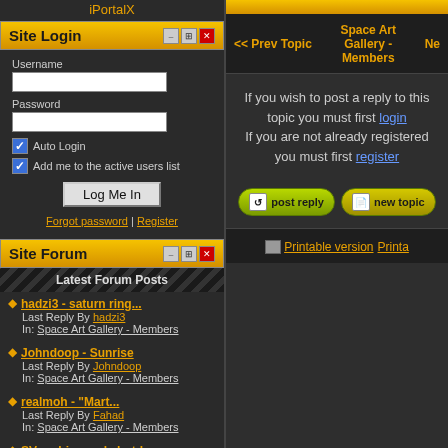iPortalX
Site Login
Username
Password
Auto Login
Add me to the active users list
Log Me In
Forgot password | Register
Site Forum
Latest Forum Posts
hadzi3 - saturn ring...
Last Reply By hadzi3
In: Space Art Gallery - Members
Johndoop - Sunrise
Last Reply By Johndoop
In: Space Art Gallery - Members
realmoh - "Mart...
Last Reply By Fahad
In: Space Art Gallery - Members
SV archive and shutd...
Last Reply By Fahad
In: General Discussion
<< Prev Topic
Space Art Gallery - Members
If you wish to post a reply to this topic you must first login
If you are not already registered you must first register
[Figure (screenshot): post reply button (green rounded)]
[Figure (screenshot): new topic button (yellow rounded)]
Printable version  Printable...